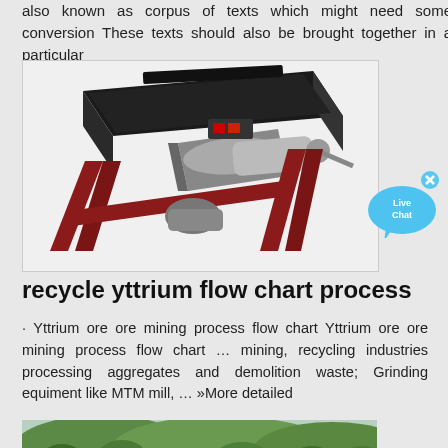also known as corpus of texts which might need some conversion These texts should also be brought together in a particular
[Figure (photo): Industrial vibrating table / shaking table machine with a flat black top surface mounted on a red metal frame with a motor and mechanical components]
[Figure (illustration): Live Chat button: blue speech bubble with 'Live Chat' text and an X close button]
recycle yttrium flow chart process
· Yttrium ore ore mining process flow chart Yttrium ore ore mining process flow chart … mining, recycling industries processing aggregates and demolition waste; Grinding equiment like MTM mill, … »More detailed
[Figure (photo): Landscape photo showing green forested hills and trees]